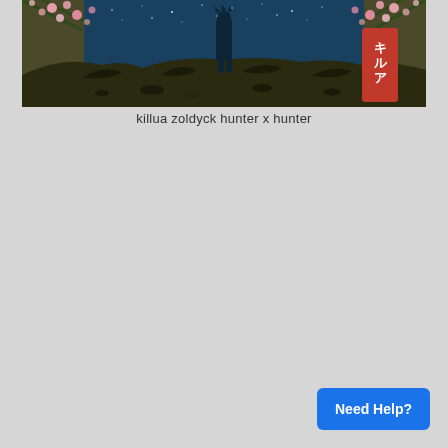[Figure (illustration): Anime illustration of Killua Zoldyck from Hunter x Hunter. A silhouetted figure stands on rocky terrain against a deep blue starry night sky. Pink cherry blossoms appear in the upper corners. A red banner with Japanese katakana characters キルア (Killua) appears on the right side.]
killua zoldyck hunter x hunter